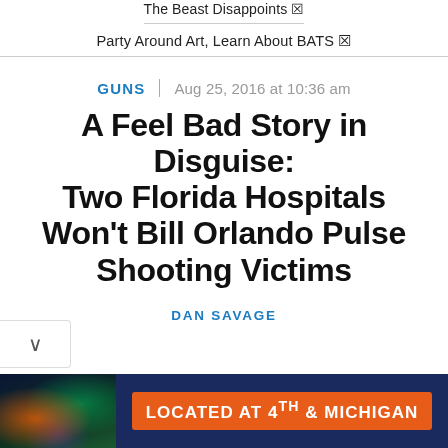The Beast Disappoints ☒
Party Around Art, Learn About BATS ☒
GUNS | Aug 25, 2016 at 10:36 am
A Feel Bad Story in Disguise: Two Florida Hospitals Won't Bill Orlando Pulse Shooting Victims
DAN SAVAGE
[Figure (photo): Advertisement banner: colorful illuminated building at night on the left; orange button with text 'LOCATED AT 4TH & MICHIGAN' on dark blue background]